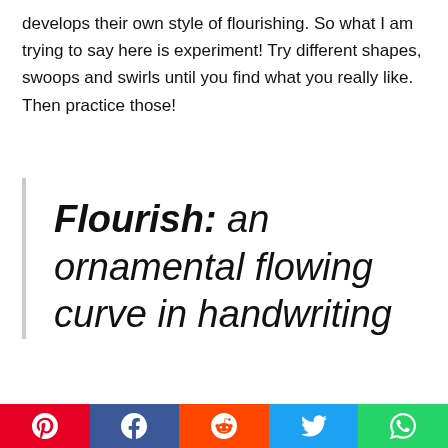develops their own style of flourishing. So what I am trying to say here is experiment! Try different shapes, swoops and swirls until you find what you really like. Then practice those!
Flourish: an ornamental flowing curve in handwriting
[Figure (infographic): Social share bar with Pinterest, Facebook, Reddit, Twitter, and WhatsApp buttons]